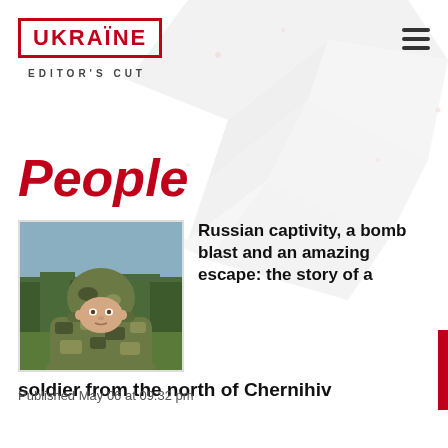UKRAINE EDITOR'S CUT
People
[Figure (photo): Ukrainian soldier in camouflage uniform standing outdoors with trees in background]
Russian captivity, a bomb blast and an amazing escape: the story of a soldier from the north of Chernihiv
Published May 06 at 09:32 pm